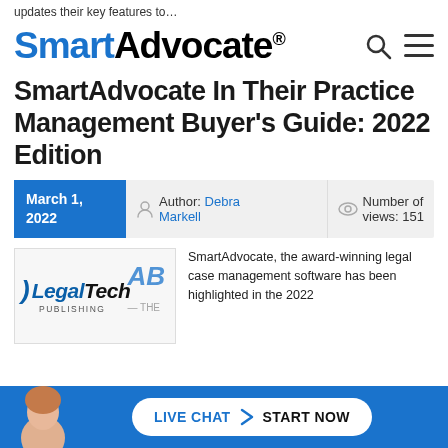updates their key features to…
[Figure (logo): SmartAdvocate logo in blue and black with registered trademark symbol]
SmartAdvocate In Their Practice Management Buyer's Guide: 2022 Edition
March 1, 2022
Author: Debra Markell
Number of views: 151
[Figure (logo): LegalTech Publishing logo with ABI Journal badge]
SmartAdvocate, the award-winning legal case management software has been highlighted in the 2022
[Figure (other): Live Chat Start Now button bar at bottom with female avatar]